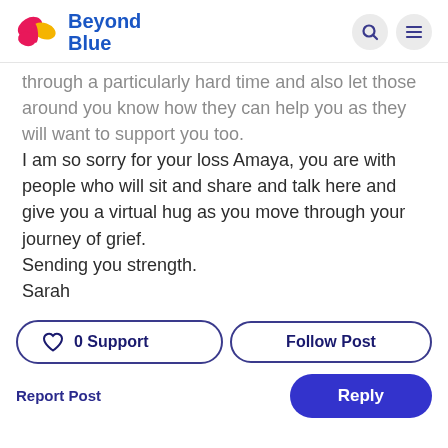[Figure (logo): Beyond Blue logo with butterfly icon and blue text 'Beyond Blue', plus search and menu icons]
through a particularly hard time and also let those around you know how they can help you as they will want to support you too.
I am so sorry for your loss Amaya, you are with people who will sit and share and talk here and give you a virtual hug as you move through your journey of grief.
Sending you strength.
Sarah
0 Support   Follow Post   Report Post   Reply